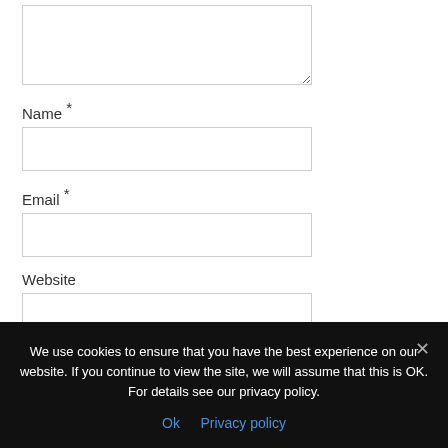[Figure (screenshot): Textarea input field (partially shown, top clipped)]
Name *
[Figure (screenshot): Name text input field]
Email *
[Figure (screenshot): Email text input field]
Website
[Figure (screenshot): Website text input field]
Notify me of follow-up comments by email.
We use cookies to ensure that you have the best experience on our website. If you continue to view the site, we will assume that this is OK. For details see our privacy policy.
Ok   Privacy policy